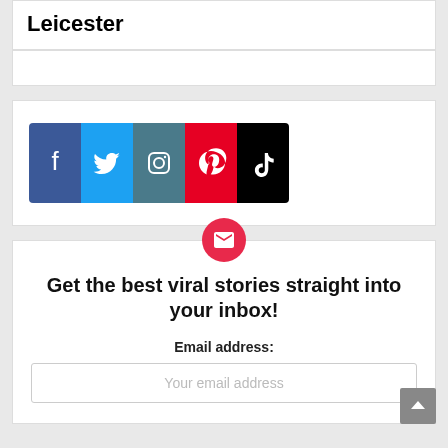Leicester
[Figure (infographic): Social media icons: Facebook, Twitter, Instagram, Pinterest, TikTok]
Get the best viral stories straight into your inbox!
Email address:
Your email address